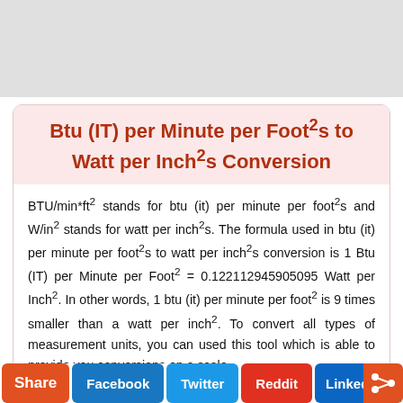[Figure (other): Gray advertisement banner placeholder at top of page]
Btu (IT) per Minute per Foot²s to Watt per Inch²s Conversion
BTU/min*ft² stands for btu (it) per minute per foot²s and W/in² stands for watt per inch²s. The formula used in btu (it) per minute per foot²s to watt per inch²s conversion is 1 Btu (IT) per Minute per Foot² = 0.122112945905095 Watt per Inch². In other words, 1 btu (it) per minute per foot² is 9 times smaller than a watt per inch². To convert all types of measurement units, you can used this tool which is able to provide you conversions on a scale.
Convert Btu (IT) per Minute per Foot²
Share  Facebook  Twitter  Reddit  LinkedIn